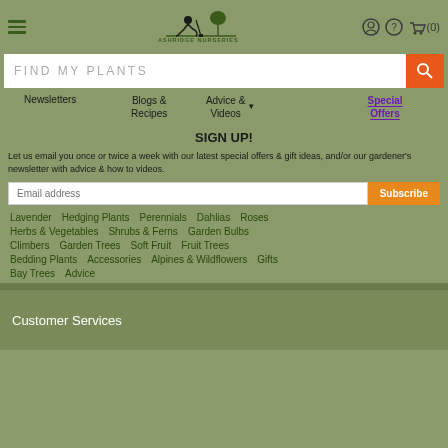[Figure (logo): Ashridge Nurseries logo with a silhouette of a person digging and a tree, with text ASHRIDGE NURSERIES below]
FIND MY PLANTS
Newsletters  Blogs & Recipes  Advice & Videos  Special Offers
SIGN UP!
Let us email you once or twice a week with our latest special offers & gift ideas, and/or our gardener's newsletter with advice & how to videos.
Email address  Subscribe
Lavender
Hedging Plants
Perennials
Dahlias
Roses
Herbs & Vegetables
Shrubs & Ferns
Garden Bulbs
Climbers
Garden Trees
Soft Fruit
Fruit Trees
Bedding Plants
Accessories
Alpines & Wildflowers
Gifts
Bay Trees
Advice
Customer Services